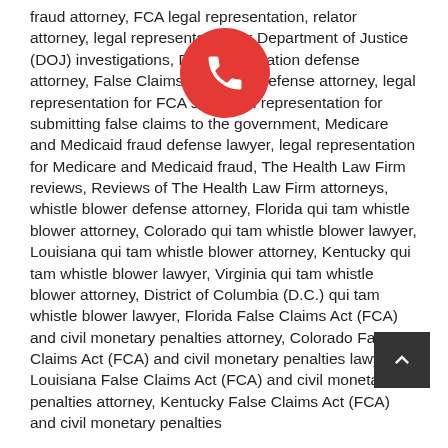fraud attorney, FCA legal representation, relator attorney, legal representation for Department of Justice (DOJ) investigations, DOJ investigation defense attorney, False Claims Act (FCA) defense attorney, legal representation for FCA suit, legal representation for submitting false claims to the government, Medicare and Medicaid fraud defense lawyer, legal representation for Medicare and Medicaid fraud, The Health Law Firm reviews, Reviews of The Health Law Firm attorneys, whistle blower defense attorney, Florida qui tam whistle blower attorney, Colorado qui tam whistle blower lawyer, Louisiana qui tam whistle blower attorney, Kentucky qui tam whistle blower lawyer, Virginia qui tam whistle blower attorney, District of Columbia (D.C.) qui tam whistle blower lawyer, Florida False Claims Act (FCA) and civil monetary penalties attorney, Colorado False Claims Act (FCA) and civil monetary penalties lawyer, Louisiana False Claims Act (FCA) and civil monetary penalties attorney, Kentucky False Claims Act (FCA) and civil monetary penalties
[Figure (other): Red circular phone/call button overlay]
[Figure (other): Dark grey scroll-to-top button with upward chevron arrow]